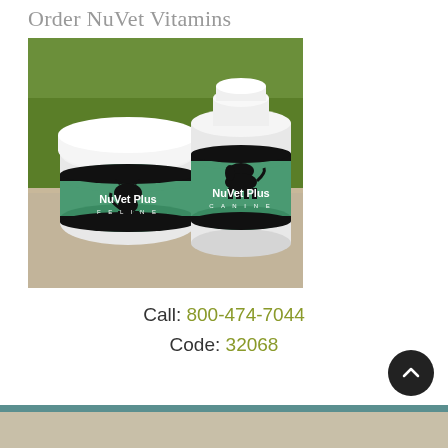Order NuVet Vitamins
[Figure (photo): Two NuVet Plus vitamin containers — one feline (shorter, wider jar with cat silhouette) and one canine (taller bottle with dog silhouette) — sitting outdoors on a concrete surface with green grass in the background.]
Call: 800-474-7044
Code: 32068